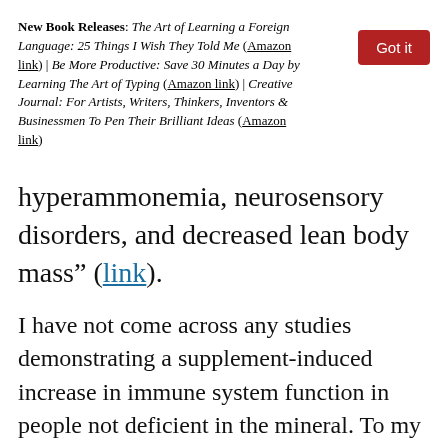New Book Releases: The Art of Learning a Foreign Language: 25 Things I Wish They Told Me (Amazon link) | Be More Productive: Save 30 Minutes a Day by Learning The Art of Typing (Amazon link) | Creative Journal: For Artists, Writers, Thinkers, Inventors & Businessmen To Pen Their Brilliant Ideas (Amazon link)
hyperammonemia, neurosensory disorders, and decreased lean body mass” (link).
I have not come across any studies demonstrating a supplement-induced increase in immune system function in people not deficient in the mineral. To my mind more studies would need to be done to confirm this